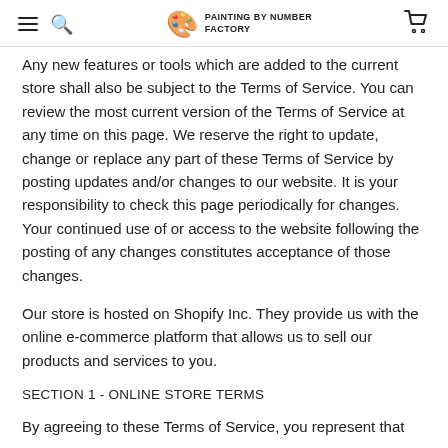PAINTING BY NUMBER FACTORY
Any new features or tools which are added to the current store shall also be subject to the Terms of Service. You can review the most current version of the Terms of Service at any time on this page. We reserve the right to update, change or replace any part of these Terms of Service by posting updates and/or changes to our website. It is your responsibility to check this page periodically for changes. Your continued use of or access to the website following the posting of any changes constitutes acceptance of those changes.
Our store is hosted on Shopify Inc. They provide us with the online e-commerce platform that allows us to sell our products and services to you.
SECTION 1 - ONLINE STORE TERMS
By agreeing to these Terms of Service, you represent that